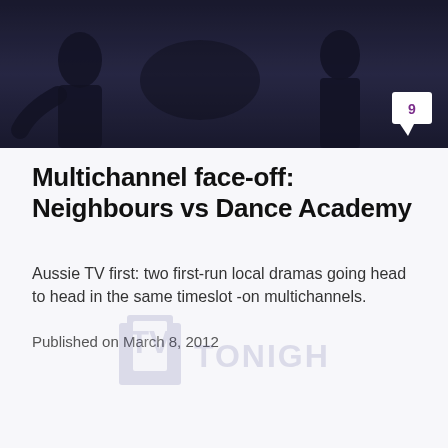[Figure (photo): Dark background photo showing people in a TV studio or performance setting, with a comment badge showing the number 9]
Multichannel face-off: Neighbours vs Dance Academy
Aussie TV first: two first-run local dramas going head to head in the same timeslot -on multichannels.
Published on March 8, 2012
[Figure (logo): TV Tonight watermark logo]